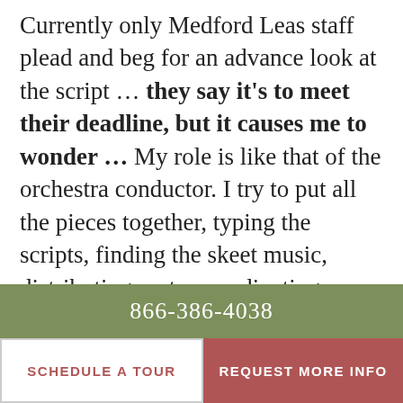Currently only Medford Leas staff plead and beg for an advance look at the script … they say it's to meet their deadline, but it causes me to wonder … My role is like that of the orchestra conductor. I try to put all the pieces together, typing the scripts, finding the skeet music, distributing parts, coordinating costumes and making it work as we conceived it.  Our first full dress rehearsal is the first performance of the evening.  In the end the final production is a surprise to me as well.  You never know what or who will be
866-386-4038
SCHEDULE A TOUR
REQUEST MORE INFO